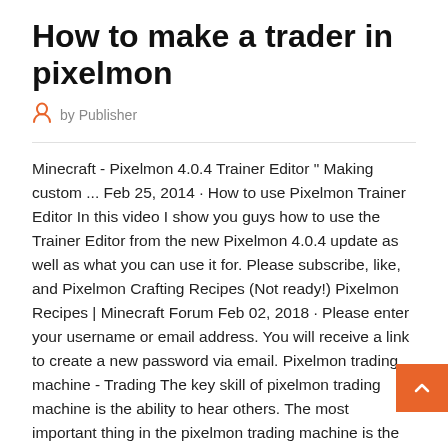How to make a trader in pixelmon
by Publisher
Minecraft - Pixelmon 4.0.4 Trainer Editor " Making custom ... Feb 25, 2014 · How to use Pixelmon Trainer Editor In this video I show you guys how to use the Trainer Editor from the new Pixelmon 4.0.4 update as well as what you can use it for. Please subscribe, like, and Pixelmon Crafting Recipes (Not ready!) Pixelmon Recipes | Minecraft Forum Feb 02, 2018 · Please enter your username or email address. You will receive a link to create a new password via email. Pixelmon trading machine - Trading The key skill of pixelmon trading machine is the ability to hear others. The most important thing in the pixelmon trading machine is the ability to hear your opponent or opponents. It does not matter if your opponent sits at a table opposite or thousands of kilometers away on the other side of the computer. How Scams and Black Ops Cannot Kill you...